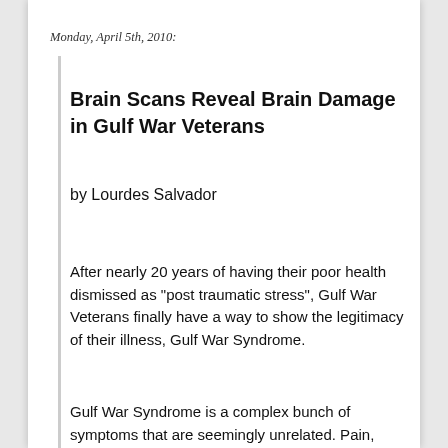Monday, April 5th, 2010:
Brain Scans Reveal Brain Damage in Gulf War Veterans
by Lourdes Salvador
After nearly 20 years of having their poor health dismissed as "post traumatic stress", Gulf War Veterans finally have a way to show the legitimacy of their illness, Gulf War Syndrome.
Gulf War Syndrome is a complex bunch of symptoms that are seemingly unrelated. Pain, numbness, tingling, fatigue, brain fog, chemical sensitivity, emotional changes, and other